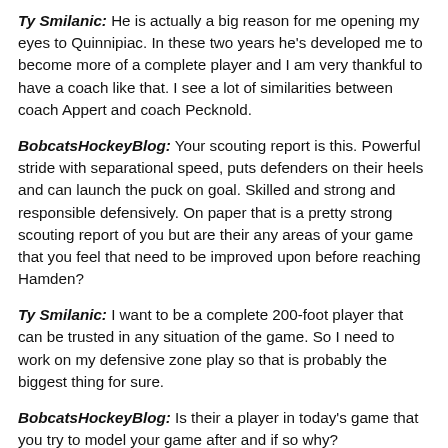Ty Smilanic: He is actually a big reason for me opening my eyes to Quinnipiac. In these two years he's developed me to become more of a complete player and I am very thankful to have a coach like that. I see a lot of similarities between coach Appert and coach Pecknold.
BobcatsHockeyBlog: Your scouting report is this. Powerful stride with separational speed, puts defenders on their heels and can launch the puck on goal. Skilled and strong and responsible defensively. On paper that is a pretty strong scouting report of you but are their any areas of your game that you feel that need to be improved upon before reaching Hamden?
Ty Smilanic: I want to be a complete 200-foot player that can be trusted in any situation of the game. So I need to work on my defensive zone play so that is probably the biggest thing for sure.
BobcatsHockeyBlog: Is their a player in today's game that you try to model your game after and if so why?
Ty Smilanic: Being from Colorado, I love watching Nathan